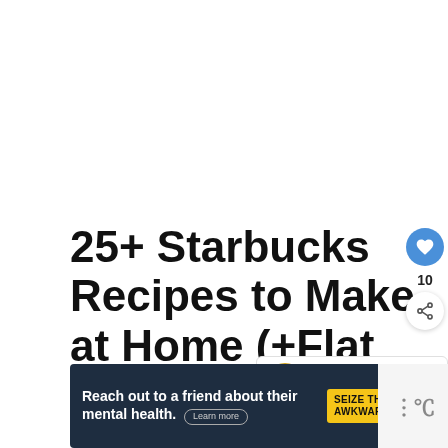25+ Starbucks Recipes to Make at Home (+Flat White Coffee)
[Figure (infographic): What's Next widget with circular food image thumbnail and text '30+ Easy Asian...']
[Figure (infographic): Advertisement banner: 'Reach out to a friend about their mental health. Learn more' with 'SEIZE THE AWKWARD' yellow label]